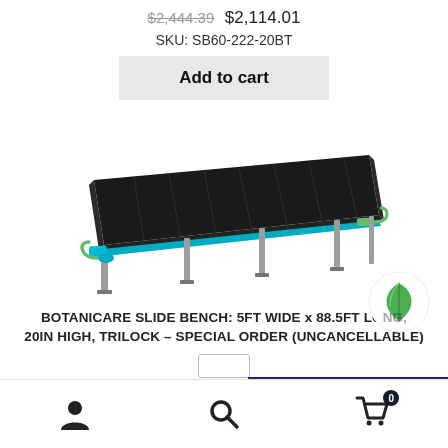$2,444.39  $2,114.01
SKU: SB60-222-20BT
Add to cart
[Figure (photo): Product photo of a Botanicare Slide Bench: a long black tray greenhouse bench system with teal/green frame and silver legs on a white background.]
BOTANICARE SLIDE BENCH: 5FT WIDE x 88.5FT LONG, 20IN HIGH, TRILOCK – SPECIAL ORDER (UNCANCELLABLE)
[Figure (logo): Circular logo with white background and green leaf icon (Botanicare brand logo)]
[Figure (infographic): Bottom navigation bar with person icon, search icon, and shopping cart icon with badge showing 0]